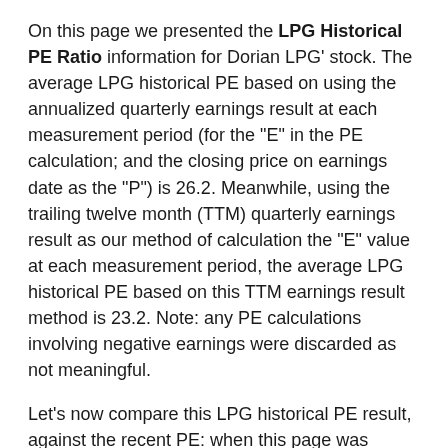On this page we presented the LPG Historical PE Ratio information for Dorian LPG' stock. The average LPG historical PE based on using the annualized quarterly earnings result at each measurement period (for the "E" in the PE calculation; and the closing price on earnings date as the "P") is 26.2. Meanwhile, using the trailing twelve month (TTM) quarterly earnings result as our method of calculation the "E" value at each measurement period, the average LPG historical PE based on this TTM earnings result method is 23.2. Note: any PE calculations involving negative earnings were discarded as not meaningful.
Let's now compare this LPG historical PE result, against the recent PE: when this page was posted on 11/18/2021, the most recent closing price for LPG had been 12.81, and the most recent quarterly earnings result, annualized, was 1. Meanwhile, the most recent TTM earnings summed to 1.94. From these numbers, we